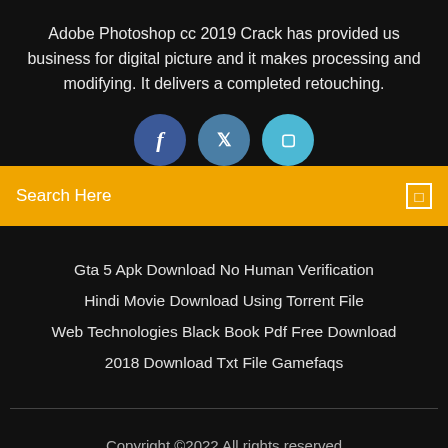Adobe Photoshop cc 2019 Crack has provided us business for digital picture and it makes processing and modifying. It delivers a completed retouching.
[Figure (illustration): Three social media icon circles: Facebook (dark blue), Twitter (medium blue), Instagram (light blue), partially overlapping a yellow search bar]
Search Here
Gta 5 Apk Download No Human Verification
Hindi Movie Download Using Torrent File
Web Technologies Black Book Pdf Free Download
2018 Download Txt File Gamefaqs
Copyright ©2022 All rights reserved